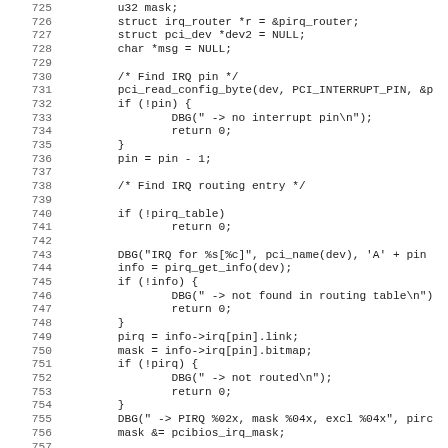Source code listing, lines 725-756, C kernel code for IRQ routing